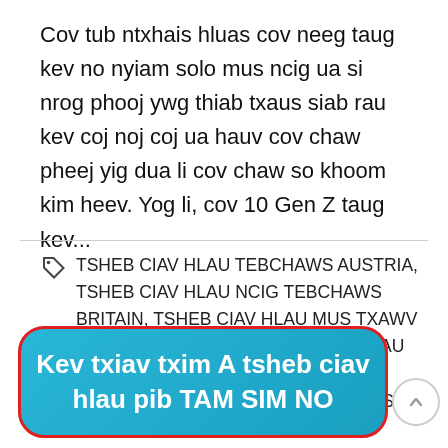Cov tub ntxhais hluas cov neeg taug kev no nyiam solo mus ncig ua si nrog phooj ywg thiab txaus siab rau kev coj noj coj ua hauv cov chaw pheej yig dua li cov chaw so khoom kim heev. Yog li, cov 10 Gen Z taug kev...
TSHEB CIAV HLAU TEBCHAWS AUSTRIA, TSHEB CIAV HLAU NCIG TEBCHAWS BRITAIN, TSHEB CIAV HLAU MUS TXAWV TEBCHAWS FABKIS, TSHEB CIAV HLAU MUS NCIG TEB CHAWS YELEMEES, TSHEB CIAV HLAU TEBCHAWS LTALIS, TSHEB CIAV HLAU...
Kev txiav txim A tsheb ciav hlau pib TAM SIM NO